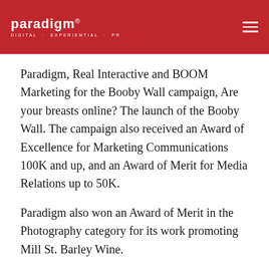paradigm DIGITAL · EXPERIENTIAL · PR
Paradigm, Real Interactive and BOOM Marketing for the Booby Wall campaign, Are your breasts online? The launch of the Booby Wall. The campaign also received an Award of Excellence for Marketing Communications 100K and up, and an Award of Merit for Media Relations up to 50K.
Paradigm also won an Award of Merit in the Photography category for its work promoting Mill St. Barley Wine.